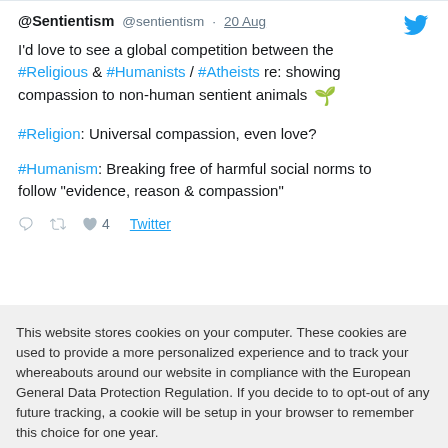@Sentientism @sentientism · 20 Aug
I'd love to see a global competition between the #Religious & #Humanists / #Atheists re: showing compassion to non-human sentient animals 🌱
#Religion: Universal compassion, even love?
#Humanism: Breaking free of harmful social norms to follow "evidence, reason & compassion"
4  Twitter
This website stores cookies on your computer. These cookies are used to provide a more personalized experience and to track your whereabouts around our website in compliance with the European General Data Protection Regulation. If you decide to to opt-out of any future tracking, a cookie will be setup in your browser to remember this choice for one year.
Accept or Deny